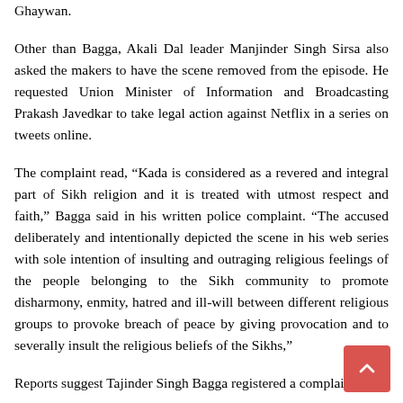Ghaywan.
Other than Bagga, Akali Dal leader Manjinder Singh Sirsa also asked the makers to have the scene removed from the episode. He requested Union Minister of Information and Broadcasting Prakash Javedkar to take legal action against Netflix in a series on tweets online.
The complaint read, “Kada is considered as a revered and integral part of Sikh religion and it is treated with utmost respect and faith,” Bagga said in his written police complaint. “The accused deliberately and intentionally depicted the scene in his web series with sole intention of insulting and outraging religious feelings of the people belonging to the Sikh community to promote disharmony, enmity, hatred and ill-will between different religious groups to provoke breach of peace by giving provocation and to severally insult the religious beliefs of the Sikhs,”
Reports suggest Tajinder Singh Bagga registered a complaint